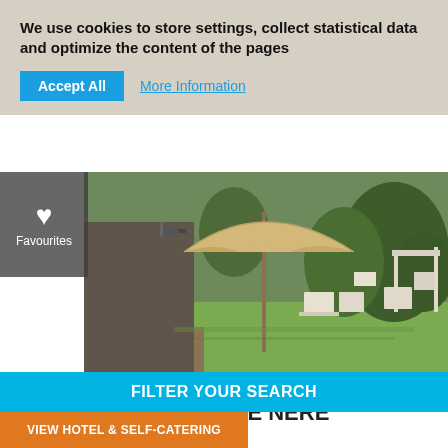We use cookies to store settings, collect statistical data and optimize the content of the pages
Accept All
More Information
[Figure (photo): Outdoor garden area of Monaci delle Terre Nere hotel with umbrella, white furniture, green lawn and trees]
MONACI DELLE TERRE NERE
Hotel & Self-Catering
Italy / Sicily / Zafferana Etnea
This is what happens when all the right raw materials are in place and you transform a seaside cum moutainside cum countryside historic country house into an entirely up to date stylish boutique accommodation. You see, the Relais Monaci delle...
FILTER YOUR SEARCH
VIEW HOTEL & SELF-CATERING